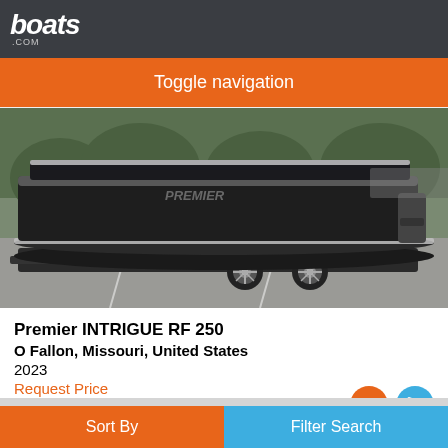boats.com
Toggle navigation
[Figure (photo): A black Premier pontoon boat on a trailer in a parking lot, side view showing dual axle wheels and sleek hull.]
Premier INTRIGUE RF 250
O Fallon, Missouri, United States
2023
Request Price
Seller Dri-Port Marine
Sort By | Filter Search